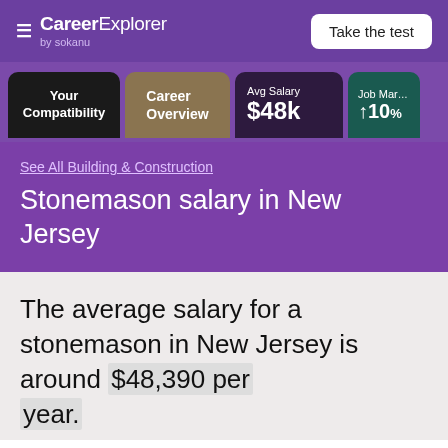CareerExplorer by sokanu | Take the test
Your Compatibility
Career Overview
Avg Salary $48k
Job Market ↑10%
See All Building & Construction
Stonemason salary in New Jersey
The average salary for a stonemason in New Jersey is around $48,390 per year.
Avg Salary Chart header